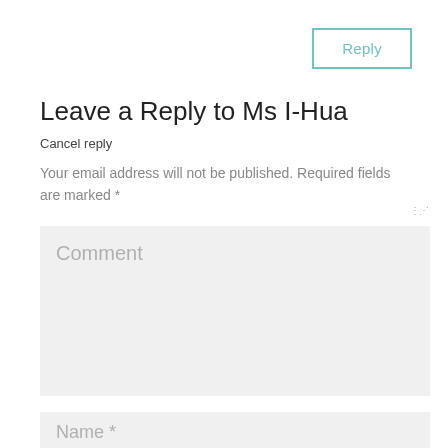Reply
Leave a Reply to Ms I-Hua
Cancel reply
Your email address will not be published. Required fields are marked *
[Figure (screenshot): Comment textarea input field with placeholder text 'Comment']
[Figure (screenshot): Name input field with placeholder text 'Name *']